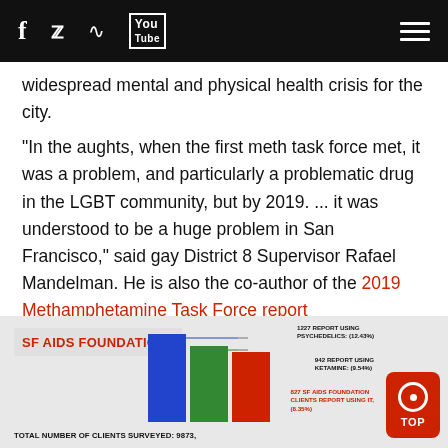Social media icons: Facebook, Twitter, RSS, YouTube, Hamburger menu
widespread mental and physical health crisis for the city.
"In the aughts, when the first meth task force met, it was a problem, and particularly a problematic drug in the LGBT community, but by 2019. ... it was understood to be a huge problem in San Francisco," said gay District 8 Supervisor Rafael Mandelman. He is also the co-author of the 2019 Methamphetamine Task Force report recommending a series of new actions to tackle the "methamphetamine problem."
[Figure (bar-chart): Partial bar chart showing SF AIDS Foundation client survey data. Total number of clients surveyed: 9873. Bars shown for Psychedelics, Ketamine, and another category. Annotations: 1227 report using psychedelics (12.43%), 942 report using ketamine (9.54%), 827 SF AIDS Foundation clients report using it (8.35%). Blue, green, and red bars visible.]